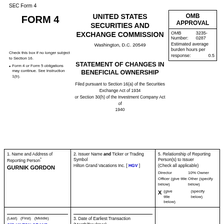SEC Form 4
FORM 4
UNITED STATES SECURITIES AND EXCHANGE COMMISSION
Washington, D.C. 20549
| OMB APPROVAL |
| --- |
| OMB Number: | 3235-0287 |
| Estimated average burden hours per response: | 0.5 |
Check this box if no longer subject to Section 16.
Form 4 or Form 5 obligations may continue. See Instruction 1(b).
STATEMENT OF CHANGES IN BENEFICIAL OWNERSHIP
Filed pursuant to Section 16(a) of the Securities Exchange Act of 1934 or Section 30(h) of the Investment Company Act of 1940
| 1. Name and Address of Reporting Person* | 2. Issuer Name and Ticker or Trading Symbol | 5. Relationship of Reporting Person(s) to Issuer (Check all applicable) |
| --- | --- | --- |
| GURNIK GORDON | Hilton Grand Vacations Inc. [ HGV ] | Director / 10% Owner / Officer (give title below) X / Other (specify below) |
| (Last) (First) (Middle) |  |  |
| C/O HILTON GRAND VACATIONS INC. | 3. Date of Earliest Transaction (Month/Day/Year) |  |